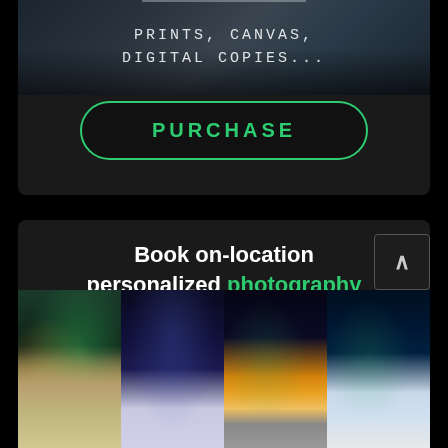[Figure (screenshot): Dark-themed mobile app UI. Top section shows a landscape photo with text overlay reading 'PRINTS, CANVAS, DIGITAL COPIES...' and a green-outlined PURCHASE button. Bottom section shows promotional text 'Book on-location personalized photography services.' with a strip of four photography thumbnails (aurora borealis, night sky, couple portrait, bottle with aurora).]